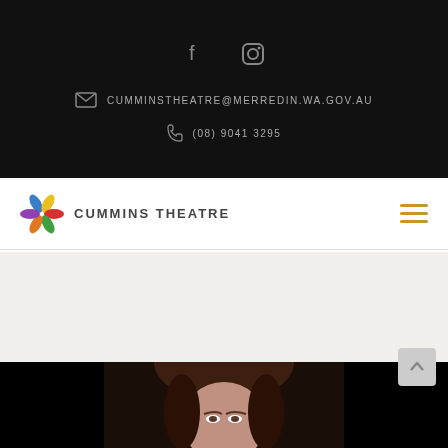Social icons: Facebook, Instagram
CUMMINSTHEATRE@MERREDIN.WA.GOV.AU
(08) 9041 3295
[Figure (logo): Cummins Theatre logo with colorful pinwheel graphic and text CUMMINS THEATRE]
This event has passed.
[Figure (photo): Portrait photo of a woman with dark hair against a black background, cropped at top of frame]